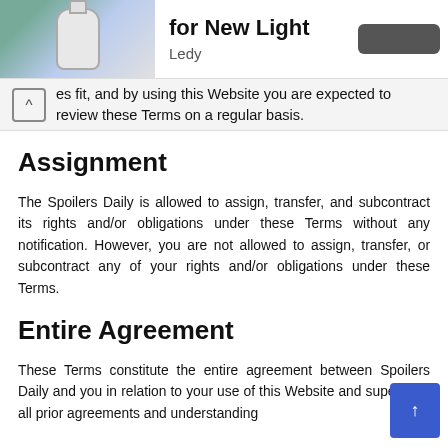[Figure (screenshot): App header showing product image on left, title 'for New Light' and subtitle 'Ledy' on right, with a button]
es fit, and by using this Website you are expected to review these Terms on a regular basis.
Assignment
The Spoilers Daily is allowed to assign, transfer, and subcontract its rights and/or obligations under these Terms without any notification. However, you are not allowed to assign, transfer, or subcontract any of your rights and/or obligations under these Terms.
Entire Agreement
These Terms constitute the entire agreement between Spoilers Daily and you in relation to your use of this Website and supersede all prior agreements and understanding